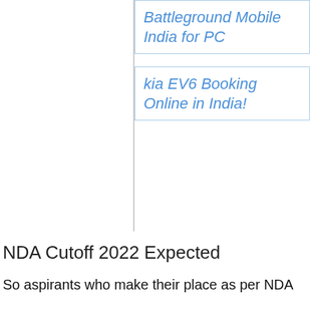Battleground Mobile India for PC
kia EV6 Booking Online in India!
NDA Cutoff 2022 Expected
So aspirants who make their place as per NDA